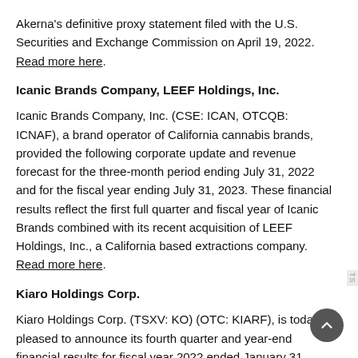Akerna's definitive proxy statement filed with the U.S. Securities and Exchange Commission on April 19, 2022. Read more here.
Icanic Brands Company, LEEF Holdings, Inc.
Icanic Brands Company, Inc. (CSE: ICAN, OTCQB: ICNAF), a brand operator of California cannabis brands, provided the following corporate update and revenue forecast for the three-month period ending July 31, 2022 and for the fiscal year ending July 31, 2023. These financial results reflect the first full quarter and fiscal year of Icanic Brands combined with its recent acquisition of LEEF Holdings, Inc., a California based extractions company. Read more here.
Kiaro Holdings Corp.
Kiaro Holdings Corp. (TSXV: KO) (OTC: KIARF), is today pleased to announce its fourth quarter and year-end financial results for fiscal year 2022 ended January 31, 2022.  Significantly expanded retail channel, from 7 to 17